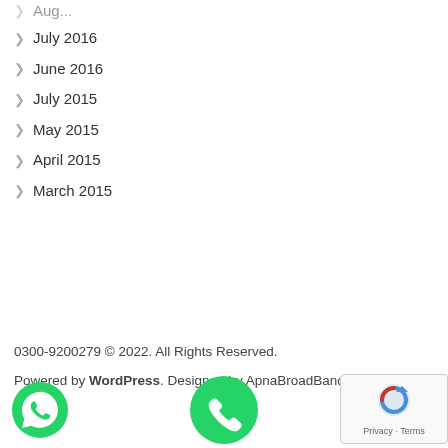July 2016
June 2016
July 2015
May 2015
April 2015
March 2015
0300-9200279 © 2022. All Rights Reserved.
Powered by WordPress. Designed by ApnaBroadBand